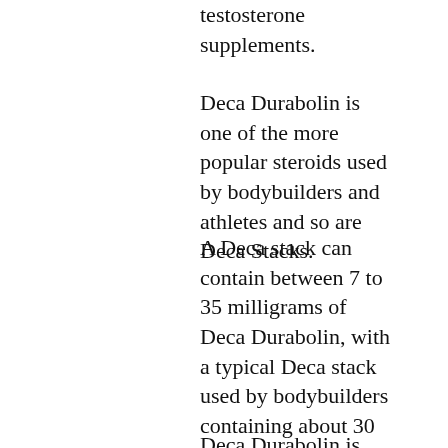testosterone supplements.
Deca Durabolin is one of the more popular steroids used by bodybuilders and athletes and so are Deca Stacks.
A Deca stack can contain between 7 to 35 milligrams of Deca Durabolin, with a typical Deca stack used by bodybuilders containing about 30 milligrams.
Deca Durabolin is known by many names such as Dega Durabolin, Dega Racetazone, Dega Durabolin, Decafenac, Durabolin, Decafenac and Decafenac, among others. There are a number of forms of Deca Durabolin that can be used by bodybuilders and athletes, so it is important to choose the correct version of Deca Durabolin, as each